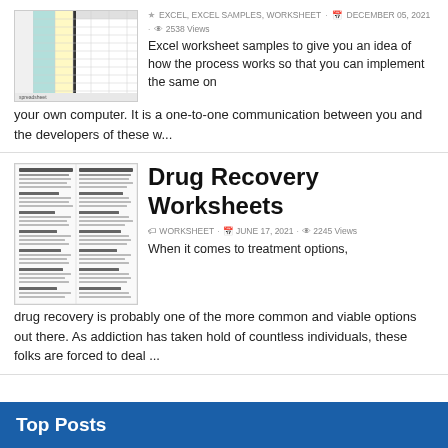[Figure (screenshot): Excel worksheet thumbnail showing colored columns (teal, yellow) in a grid]
EXCEL, EXCEL SAMPLES, WORKSHEET · DECEMBER 05, 2021 · 2538 Views
Excel worksheet samples to give you an idea of how the process works so that you can implement the same on your own computer. It is a one-to-one communication between you and the developers of these w...
[Figure (screenshot): Drug Recovery Worksheets document thumbnail showing two-column text worksheet]
Drug Recovery Worksheets
WORKSHEET · JUNE 17, 2021 · 2245 Views
When it comes to treatment options, drug recovery is probably one of the more common and viable options out there. As addiction has taken hold of countless individuals, these folks are forced to deal ...
Top Posts